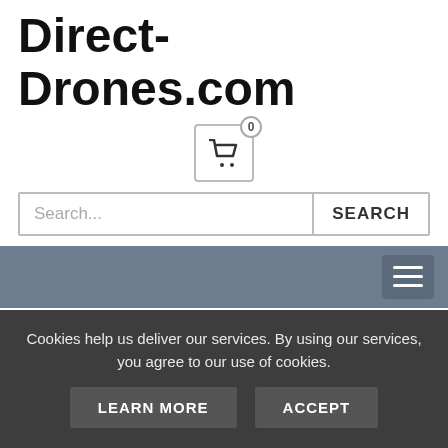Direct-Drones.com
[Figure (screenshot): Shopping cart icon button with badge showing 0]
[Figure (screenshot): Search input field with SEARCH button]
[Figure (screenshot): Navigation bar with hamburger menu icon]
Direct Drones Store / Gyroscope Drones
AERIAL PHOTO ONE-BUTTON RETURN GYROSCOPE REMOTE CONTROL FOLD
Cookies help us deliver our services. By using our services, you agree to our use of cookies.
LEARN MORE   ACCEPT